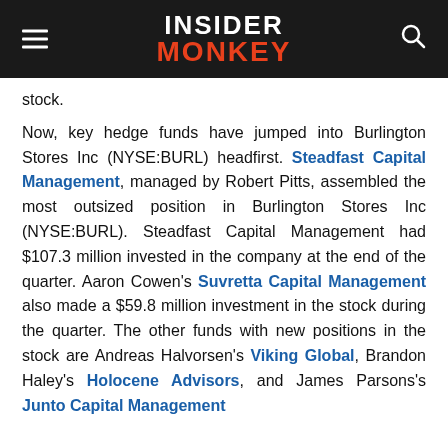INSIDER MONKEY
stock.
Now, key hedge funds have jumped into Burlington Stores Inc (NYSE:BURL) headfirst. Steadfast Capital Management, managed by Robert Pitts, assembled the most outsized position in Burlington Stores Inc (NYSE:BURL). Steadfast Capital Management had $107.3 million invested in the company at the end of the quarter. Aaron Cowen's Suvretta Capital Management also made a $59.8 million investment in the stock during the quarter. The other funds with new positions in the stock are Andreas Halvorsen's Viking Global, Brandon Haley's Holocene Advisors, and James Parsons's Junto Capital Management